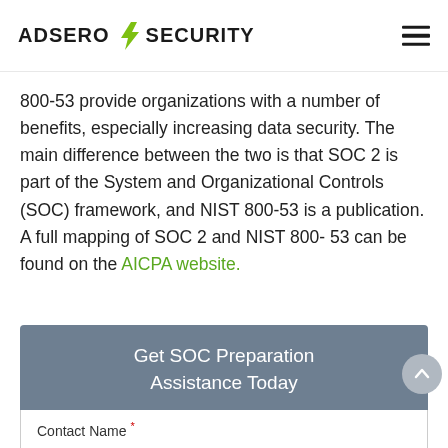Adsero Security
800-53 provide organizations with a number of benefits, especially increasing data security. The main difference between the two is that SOC 2 is part of the System and Organizational Controls (SOC) framework, and NIST 800-53 is a publication. A full mapping of SOC 2 and NIST 800- 53 can be found on the AICPA website.
Get SOC Preparation Assistance Today
Contact Name *